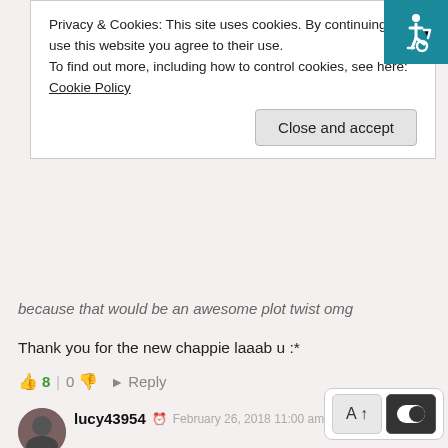[Figure (other): Accessibility icon - white wheelchair symbol on teal/dark cyan background, top right corner]
Privacy & Cookies: This site uses cookies. By continuing to use this website you agree to their use.
To find out more, including how to control cookies, see here: Cookie Policy
Close and accept
because that would be an awesome plot twist omg
Thank you for the new chappie laaab u :*
👍 8 | 0 👎 ➜ Reply
[Figure (photo): Small circular avatar photo of a user, dark/grey tones]
lucy43954  © February 26, 2018 11:00 am  🔗
Boss is suspecting something wrong
I thought that Momo family don't care about him 🤔🤔🤔

Thank you for the wonderful translation
👍 20 | 0 👎 ➜ Reply